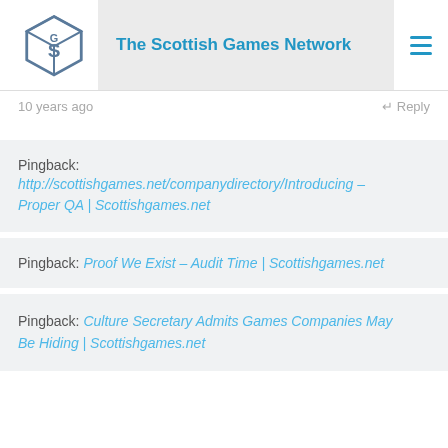The Scottish Games Network
10 years ago   ↵ Reply
Pingback: http://scottishgames.net/companydirectory/Introducing – Proper QA | Scottishgames.net
Pingback: Proof We Exist – Audit Time | Scottishgames.net
Pingback: Culture Secretary Admits Games Companies May Be Hiding | Scottishgames.net